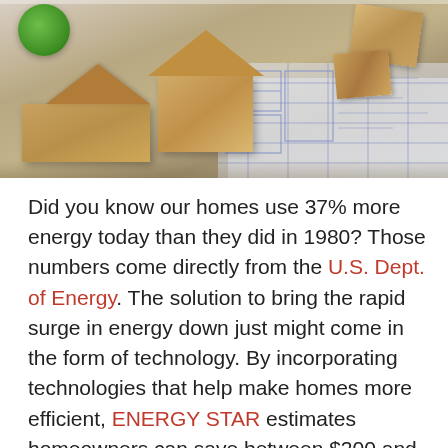[Figure (photo): Wooden toy block houses arranged on architectural blueprint drawings, with a green spherical tree on the left side. Background shows white/gray blueprint lines on the right.]
Did you know our homes use 37% more energy today than they did in 1980? Those numbers come directly from the U.S. Dept. of Energy. The solution to bring the rapid surge in energy down just might come in the form of technology. By incorporating technologies that help make homes more efficient, ENERGY STAR estimates homeowners can save between $200 and $400 annually on their energy bills—something many homeowners need today as energy costs continue to